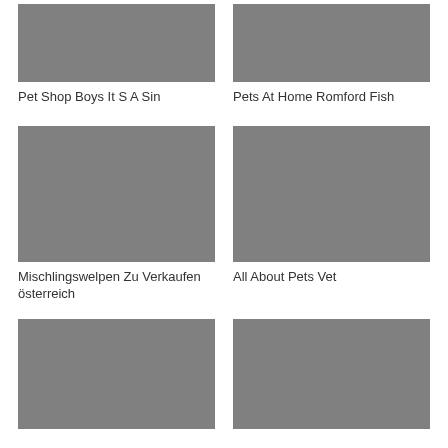[Figure (photo): Gray placeholder image top-left]
[Figure (photo): Gray placeholder image top-right]
Pet Shop Boys It S A Sin
Pets At Home Romford Fish
[Figure (photo): Gray placeholder image middle-left]
[Figure (photo): Gray placeholder image middle-right]
Mischlingswelpen Zu Verkaufen österreich
All About Pets Vet
[Figure (photo): Gray placeholder image bottom-left]
[Figure (photo): Gray placeholder image bottom-right]